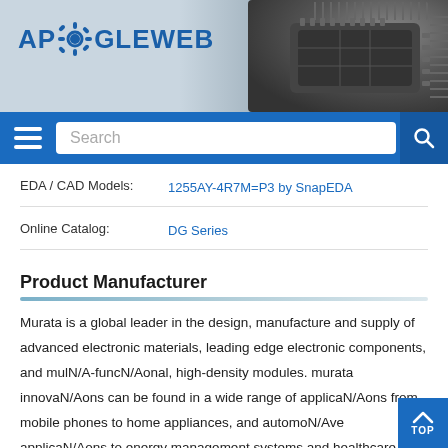[Figure (logo): ApoGeeWeb logo with gear icon in blue, set against a header banner with a chip image on the right]
| EDA / CAD Models: | 1255AY-4R7M=P3 by SnapEDA |
| Online Catalog: | DG Series |
Product Manufacturer
Murata is a global leader in the design, manufacture and supply of advanced electronic materials, leading edge electronic components, and mulN/A-funcN/Aonal, high-density modules. murata innovaN/Aons can be found in a wide range of applicaN/Aons from mobile phones to home appliances, and automoN/Ave applicaN/Aons to energy management systems and healthcare devices.